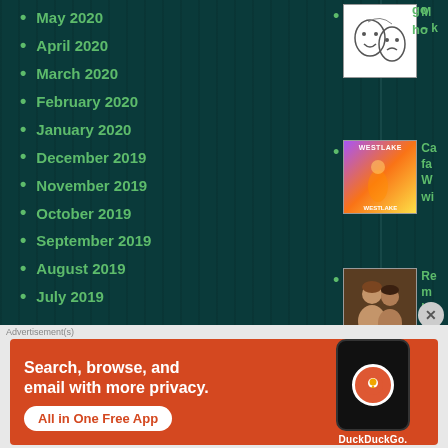May 2020
April 2020
March 2020
February 2020
January 2020
December 2019
November 2019
October 2019
September 2019
August 2019
July 2019
[Figure (illustration): Theater comedy/tragedy masks illustration]
[Figure (illustration): Westlake album/poster artwork with colorful background]
[Figure (photo): Photo of a couple]
Search, browse, and email with more privacy. All in One Free App — DuckDuckGo advertisement